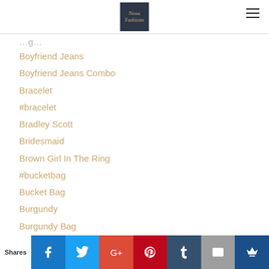Nosa Fashions
Boyfriend Jeans
Boyfriend Jeans Combo
Bracelet
#bracelet
Bradley Scott
Bridesmaid
Brown Girl In The Ring
#bucketbag
Bucket Bag
Burgundy
Burgundy Bag
Calling All Potential Zindigo Fashion Ambassadors
Caps
Cara Delight
Shares | Facebook | Twitter | Google+ | Pinterest | Tumblr | Email | Crown